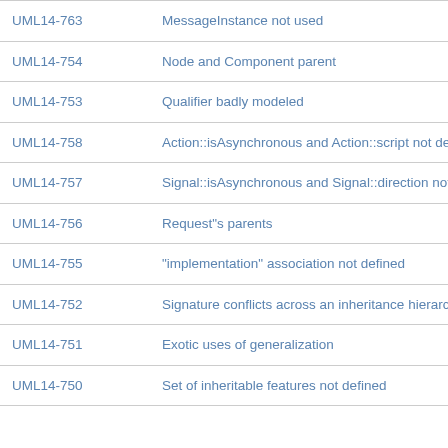| ID | Description |
| --- | --- |
| UML14-763 | MessageInstance not used |
| UML14-754 | Node and Component parent |
| UML14-753 | Qualifier badly modeled |
| UML14-758 | Action::isAsynchronous and Action::script not defined |
| UML14-757 | Signal::isAsynchronous and Signal::direction not de… |
| UML14-756 | Request"s parents |
| UML14-755 | "implementation" association not defined |
| UML14-752 | Signature conflicts across an inheritance hierarchy |
| UML14-751 | Exotic uses of generalization |
| UML14-750 | Set of inheritable features not defined |